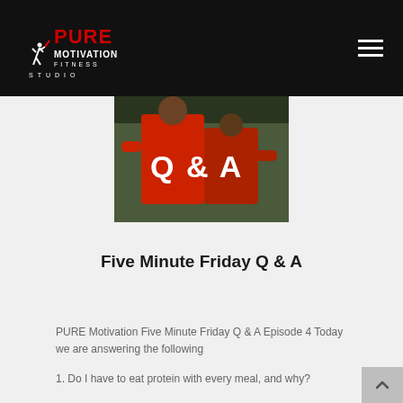PURE Motivation Fitness Studio
[Figure (photo): Two athletes wearing red jerseys with Q & A text, standing outdoors with greenery in the background.]
Five Minute Friday Q & A
PURE Motivation Five Minute Friday Q & A Episode 4 Today we are answering the following
1. Do I have to eat protein with every meal, and why?